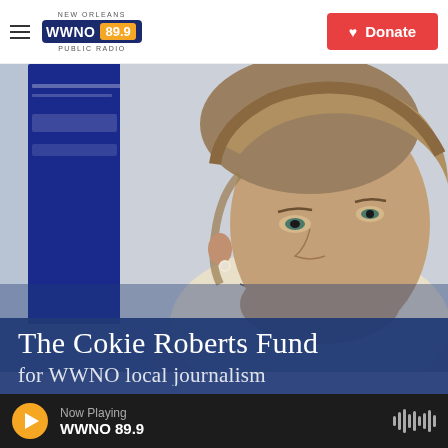NEW ORLEANS WWNO 89.9 PUBLIC RADIO — Donate
[Figure (photo): Photo of Cokie Roberts, a woman with short blonde-gray hair wearing a light blazer, speaking at an event with a blue banner in the background]
The Cokie Roberts Fund
for WWNO local journalism
Now Playing WWNO 89.9